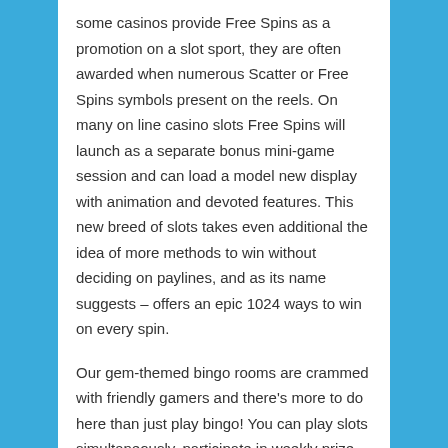some casinos provide Free Spins as a promotion on a slot sport, they are often awarded when numerous Scatter or Free Spins symbols present on the reels. On many on line casino slots Free Spins will launch as a separate bonus mini-game session and can load a model new display with animation and devoted features. This new breed of slots takes even additional the idea of more methods to win without deciding on paylines, and as its name suggests – offers an epic 1024 ways to win on every spin.
Our gem-themed bingo rooms are crammed with friendly gamers and there's more to do here than just play bingo! You can play slots simultaneously, participate in weekly prize attracts, and